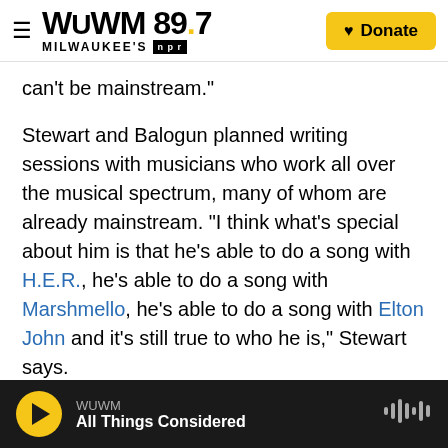WUWM 89.7 Milwaukee's NPR | Donate
can't be mainstream."
Stewart and Balogun planned writing sessions with musicians who work all over the musical spectrum, many of whom are already mainstream. "I think what's special about him is that he's able to do a song with H.E.R., he's able to do a song with Marshmello, he's able to do a song with Elton John and it's still true to who he is," Stewart says.
Khalid's own records, the ones that appear on his albums, ride the line between R&B and pop. The welcome he's provided by independent playlists
WUWM | All Things Considered